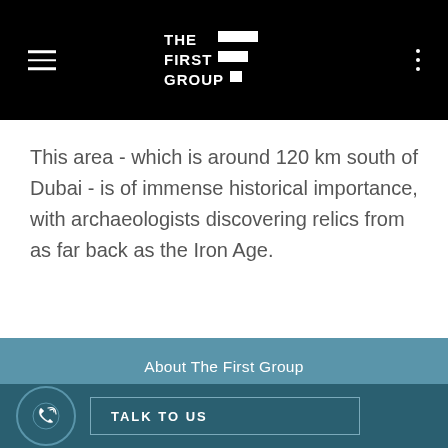THE FIRST GROUP
This area - which is around 120 km south of Dubai - is of immense historical importance, with archaeologists discovering relics from as far back as the Iron Age.
About The First Group
Latest News
Corporate Social Responsibility
Careers
TALK TO US